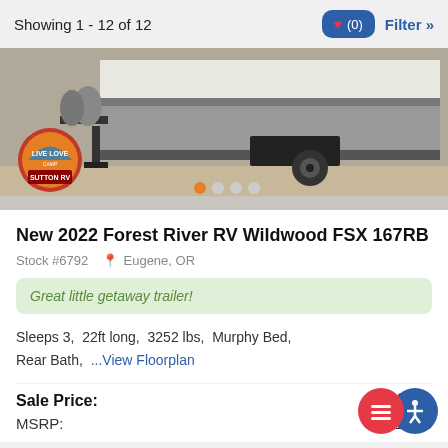Showing 1 - 12 of 12
[Figure (photo): Photo of a travel trailer (Forest River RV Wildwood FSX 167RB) with a Sutton RV logo badge in the lower left. The image shows the hitch end of the trailer with propane tanks visible, a wheel, and a striped body. Carousel dots shown below the image.]
New 2022 Forest River RV Wildwood FSX 167RB
Stock #6792  Eugene, OR
Great little getaway trailer!
Sleeps 3,  22ft long,  3252 lbs,  Murphy Bed,  Rear Bath,  ...View Floorplan
Sale Price:  $23,99
MSRP:  $31,726